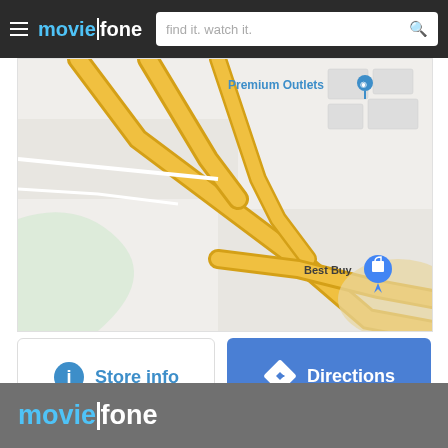moviefone — find it. watch it.
[Figure (map): Google Maps view showing road intersections with yellow highways, a 'Premium Outlets' label in blue, and a 'Best Buy' location marker with a blue pin and shopping bag icon.]
Store info
Directions
moviefone